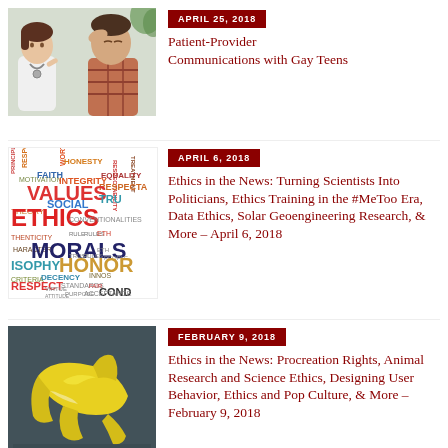[Figure (photo): A female doctor with stethoscope talking to a male patient who is rubbing his head]
APRIL 25, 2018
Patient-Provider Communications with Gay Teens
[Figure (illustration): A colorful word cloud featuring ethics-related terms such as VALUES, ETHICS, MORALS, INTEGRITY, SOCIAL, HONOR, RESPECT, FAITH, EQUALITY, and more]
APRIL 6, 2018
Ethics in the News: Turning Scientists Into Politicians, Ethics Training in the #MeToo Era, Data Ethics, Solar Geoengineering Research, & More – April 6, 2018
[Figure (photo): A dark background with a yellow banana peel and text reading 'DON'T LET YOUR ETHICS SLIP']
FEBRUARY 9, 2018
Ethics in the News: Procreation Rights, Animal Research and Science Ethics, Designing User Behavior, Ethics and Pop Culture, & More – February 9, 2018